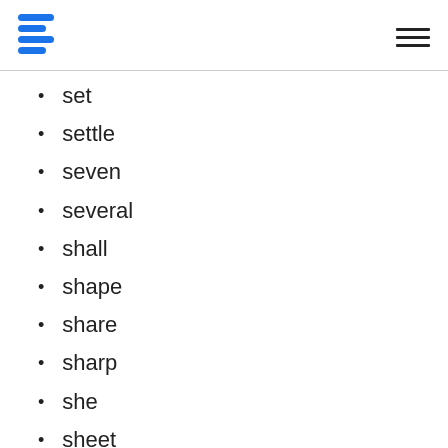Logo and navigation header
set
settle
seven
several
shall
shape
share
sharp
she
sheet